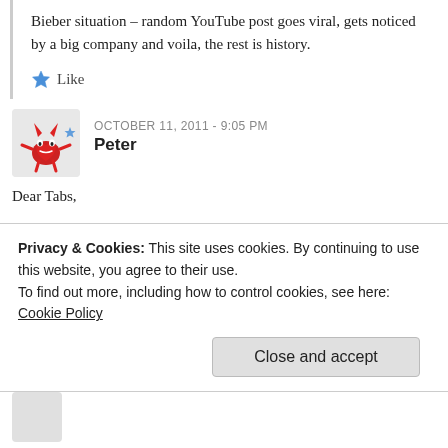Bieber situation – random YouTube post goes viral, gets noticed by a big company and voila, the rest is history.
Like
OCTOBER 11, 2011 - 9:05 PM
Peter
Dear Tabs,

Sounds as though you have an axe to grind on Envoy Medical. What aren't you telling us? Are you a former employee, maybe a little digruntled? Cochlear Implants went through a birthing by the public. They just didn't take off either until it was around for a while with dismal sales too! Please stop grinding your axe it's bothering the
Privacy & Cookies: This site uses cookies. By continuing to use this website, you agree to their use.
To find out more, including how to control cookies, see here: Cookie Policy
Close and accept